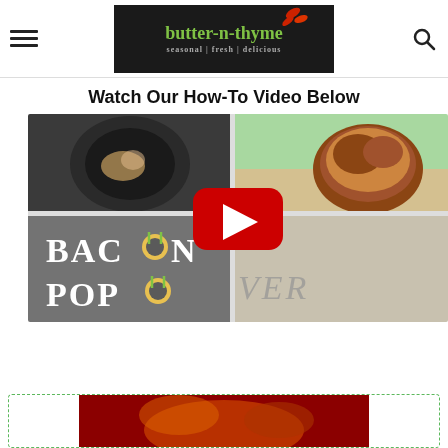butter-n-thyme | seasonal | fresh | delicious
Watch Our How-To Video Below
[Figure (screenshot): Bacon Popover YouTube video thumbnail with play button, showing food images and 'BACON POPOVER' text with butter-n-thyme logo elements]
[Figure (photo): Partial view of a recipe card with dark red/orange food image at bottom of page, inside a green dashed border box]